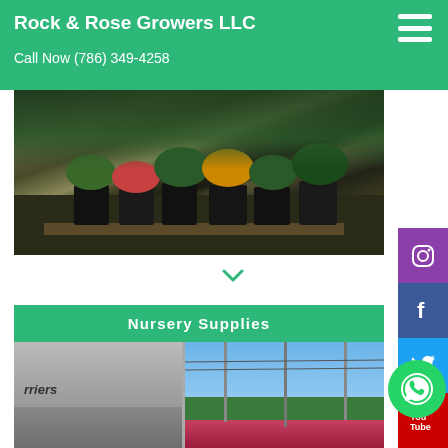Rock & Rose Growers LLC
Call Now (786) 349-4258
[Figure (photo): Nursery plants in black pots on a wooden pallet, outdoor garden setting]
[Figure (other): Green chevron down arrow]
Nursery Supplies
[Figure (photo): Left: truck with 'rriers' text visible; Right: outdoor nursery with blue sky, trees, utility poles, and red flowering plants]
[Figure (other): WhatsApp green phone icon button]
[Figure (other): Social media sidebar: Instagram (purple), Facebook (dark blue), Twitter (light blue), YouTube (red), Pinterest (red)]
[Figure (other): Scroll-up button (green circle with white chevron up)]